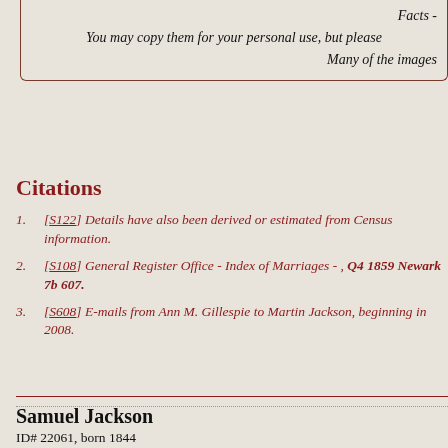Facts -
You may copy them for your personal use, but please
Many of the images
Citations
[S122] Details have also been derived or estimated from Census information.
[S108] General Register Office - Index of Marriages - , Q4 1859 Newark 7b 607.
[S608] E-mails from Ann M. Gillespie to Martin Jackson, beginning in 2008.
Samuel Jackson
ID# 22061, born 1844
Display Family